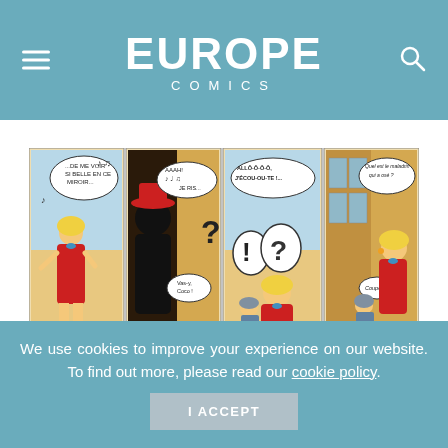Europe Comics
[Figure (illustration): Four-panel comic strip in color showing a blonde woman in a red dress singing into a mirror, then a dark figure appearing at a door, then the woman on the phone with speech bubbles showing '!?' and 'ALLÔ-Ô-Ô-Ô, J'ÉCOU-OU-TE!...', and finally the woman at the door. Speech bubbles in French.]
© Hergé / Moulinsart, 2014
A bit of a handful
We use cookies to improve your experience on our website. To find out more, please read our cookie policy.
I ACCEPT